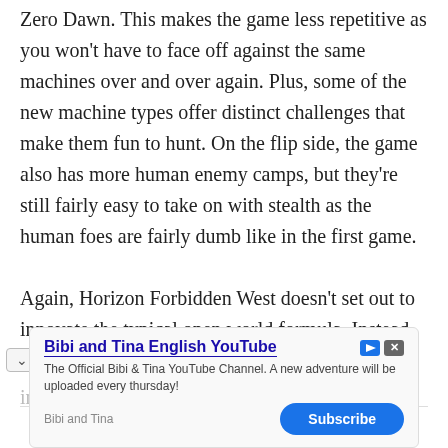Zero Dawn. This makes the game less repetitive as you won't have to face off against the same machines over and over again. Plus, some of the new machine types offer distinct challenges that make them fun to hunt. On the flip side, the game also has more human enemy camps, but they're still fairly easy to take on with stealth as the human foes are fairly dumb like in the first game.

Again, Horizon Forbidden West doesn't set out to innovate the typical open world formula. Instead, it improves upon the Zero Dawn template by making
[Figure (other): Advertisement banner for 'Bibi and Tina English YouTube' channel with Subscribe button]